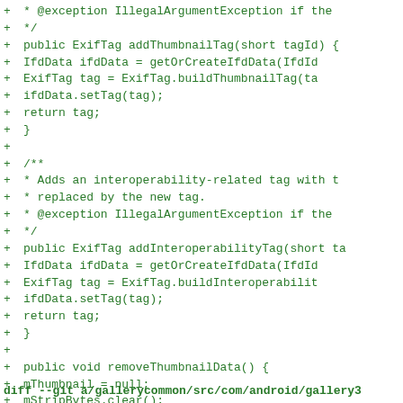Code diff showing Java methods: addThumbnailTag, addInteroperabilityTag, removeThumbnailData, and diff header for gallerycommon/src/com/android/gallery3
diff --git a/gallerycommon/src/com/android/gallery3